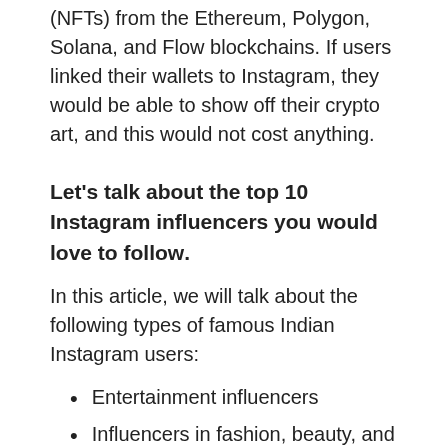(NFTs) from the Ethereum, Polygon, Solana, and Flow blockchains. If users linked their wallets to Instagram, they would be able to show off their crypto art, and this would not cost anything.
Let's talk about the top 10 Instagram influencers you would love to follow.
In this article, we will talk about the following types of famous Indian Instagram users:
Entertainment influencers
Influencers in fashion, beauty, and living styles